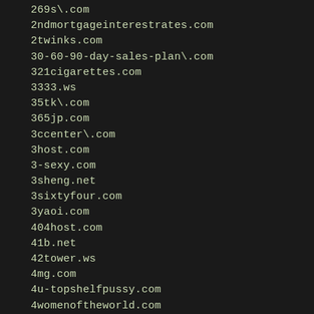269s\.com
2ndmortgageinterestrates.com
2twinks.com
30-60-90-day-sales-plan\.com
321cigarettes.com
3333.ws
35tk\.com
365jp.com
3ccenter\.com
3host.com
3-sexy.com
3sheng.net
3sixtyfour.com
3yaoi.com
404host.com
41b.net
42tower.ws
4mg.com
4u-topshelfpussy.com
4womenoftheworld.com
5118.com
5118.net.cn
512j.com
5151office\.cn
51asa.com